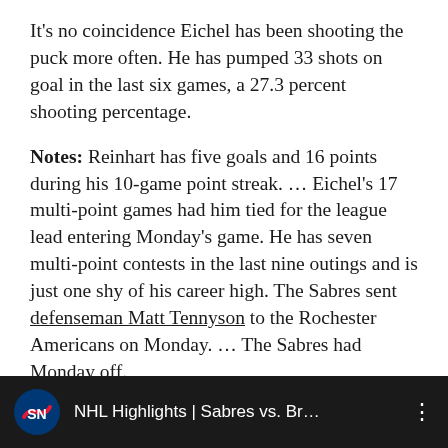It's no coincidence Eichel has been shooting the puck more often. He has pumped 33 shots on goal in the last six games, a 27.3 percent shooting percentage.
Notes: Reinhart has five goals and 16 points during his 10-game point streak. … Eichel's 17 multi-point games had him tied for the league lead entering Monday's game. He has seven multi-point contests in the last nine outings and is just one shy of his career high. The Sabres sent defenseman Matt Tennyson to the Rochester Americans on Monday. … The Sabres had Monday off.
[Figure (screenshot): Video card with Sportsnet logo and title: NHL Highlights | Sabres vs. Br...]